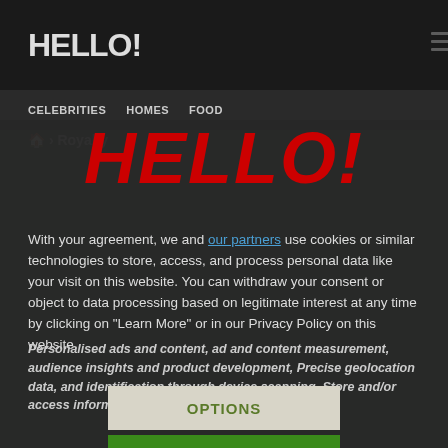HELLO!
[Figure (screenshot): HELLO! magazine website screenshot showing navigation bar, CELEBRITIES, HOMES, FOOD nav links, breadcrumb showing Royalty, and a background photo of royalty]
HELLO!
With your agreement, we and our partners use cookies or similar technologies to store, access, and process personal data like your visit on this website. You can withdraw your consent or object to data processing based on legitimate interest at any time by clicking on "Learn More" or in our Privacy Policy on this website.
Personalised ads and content, ad and content measurement, audience insights and product development, Precise geolocation data, and identification through device scanning, Store and/or access information on a device
OPTIONS
ACCEPT